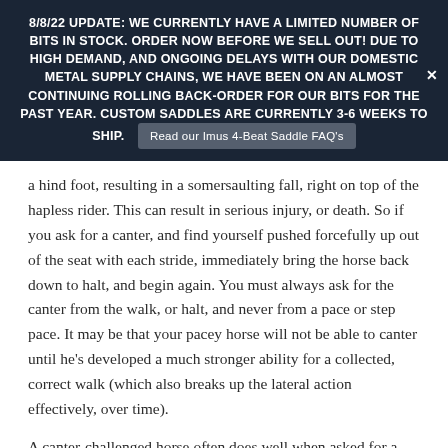8/8/22 UPDATE: WE CURRENTLY HAVE A LIMITED NUMBER OF BITS IN STOCK. ORDER NOW BEFORE WE SELL OUT! DUE TO HIGH DEMAND, AND ONGOING DELAYS WITH OUR DOMESTIC METAL SUPPLY CHAINS, WE HAVE BEEN ON AN ALMOST CONTINUING ROLLING BACK-ORDER FOR OUR BITS FOR THE PAST YEAR. CUSTOM SADDLES ARE CURRENTLY 3-6 WEEKS TO SHIP. [Read our Imus 4-Beat Saddle FAQ's]
a hind foot, resulting in a somersaulting fall, right on top of the hapless rider. This can result in serious injury, or death. So if you ask for a canter, and find yourself pushed forcefully up out of the seat with each stride, immediately bring the horse back down to halt, and begin again. You must always ask for the canter from the walk, or halt, and never from a pace or step pace. It may be that your pacey horse will not be able to canter until he's developed a much stronger ability for a collected, correct walk (which also breaks up the lateral action effectively, over time).
A canter-challenged horse often does well when asked for a canter on an uphill incline. This is because the horse's weight is naturally shifted rearward, over it's haunches, and the front end is lightened, making it